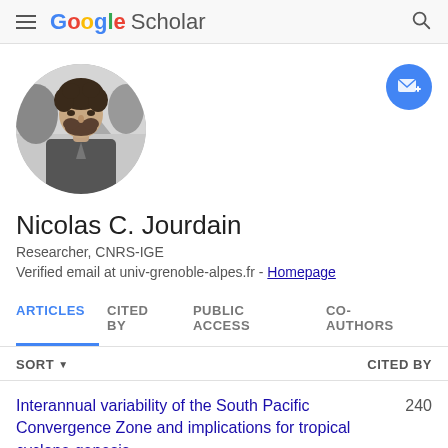Google Scholar
[Figure (photo): Black and white circular profile photo of Nicolas C. Jourdain, a man with curly dark hair and a beard, smiling outdoors with trees in the background]
Nicolas C. Jourdain
Researcher, CNRS-IGE
Verified email at univ-grenoble-alpes.fr - Homepage
ARTICLES | CITED BY | PUBLIC ACCESS | CO-AUTHORS
SORT ▾   CITED BY
Interannual variability of the South Pacific Convergence Zone and implications for tropical cyclone genesis   240